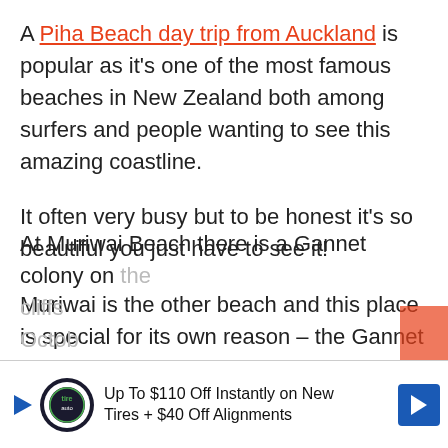A Piha Beach day trip from Auckland is popular as it's one of the most famous beaches in New Zealand both among surfers and people wanting to see this amazing coastline.
It often very busy but to be honest it's so beautiful you just have to see it!
Muriwai is the other beach and this place is special for its own reason – the Gannet Colony. Gannets are large sea birds who nest in large groups.
At Muriwai Beach there is a Gannet colony on the cliffs … October … cliffs
[Figure (other): Advertisement banner: Up To $110 Off Instantly on New Tires + $40 Off Alignments, with auto shop logo and navigation arrow icon]